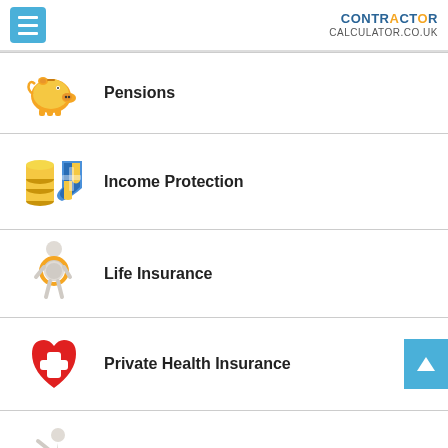CONTRACTOR CALCULATOR.CO.UK
Pensions
Income Protection
Life Insurance
Private Health Insurance
Contractor accountants